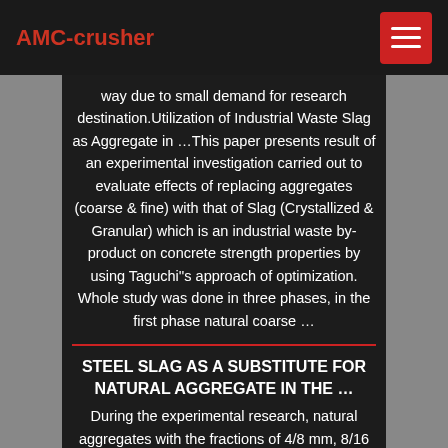AMC-crusher
way due to small demand for research destination.Utilization of Industrial Waste Slag as Aggregate in …This paper presents result of an experimental investigation carried out to evaluate effects of replacing aggregates (coarse & fine) with that of Slag (Crystallized & Granular) which is an industrial waste by-product on concrete strength properties by using Taguchi''s approach of optimization. Whole study was done in three phases, in the first phase natural coarse …
STEEL SLAG AS A SUBSTITUTE FOR NATURAL AGGREGATE IN THE …
During the experimental research, natural aggregates with the fractions of 4/8 mm, 8/16 mm were replaced with steel slag of